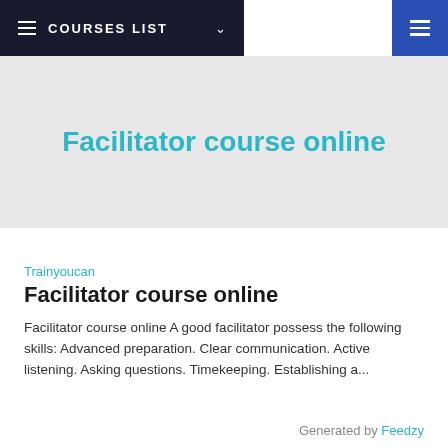COURSES LIST
Facilitator course online
Trainyoucan
Facilitator course online
Facilitator course online A good facilitator possess the following skills: Advanced preparation. Clear communication. Active listening. Asking questions. Timekeeping. Establishing a...
Generated by Feedzy